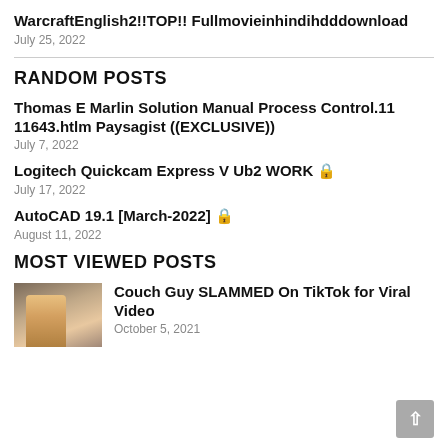WarcraftEnglish2!!TOP!! Fullmovieinhindihdddownload
July 25, 2022
RANDOM POSTS
Thomas E Marlin Solution Manual Process Control.11 11643.htlm Paysagist ((EXCLUSIVE))
July 7, 2022
Logitech Quickcam Express V Ub2 WORK 🔒
July 17, 2022
AutoCAD 19.1 [March-2022] 🔒
August 11, 2022
MOST VIEWED POSTS
[Figure (photo): Thumbnail photo of a person]
Couch Guy SLAMMED On TikTok for Viral Video
October 5, 2021